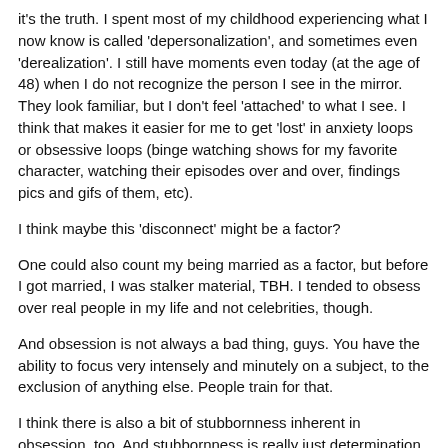it's the truth.  I spent most of my childhood experiencing what I now know is called 'depersonalization', and sometimes even 'derealization'. I still have moments even today (at the age of 48) when I do not recognize the person I see in the mirror.  They look familiar, but I don't feel 'attached' to what I see.  I think that makes it easier for me to get 'lost' in anxiety loops or obsessive loops (binge watching shows for my favorite character, watching their episodes over and over, findings pics and gifs of them, etc).
I think maybe this 'disconnect' might be a factor?
One could also count my being married as a factor, but before I got married, I was stalker material, TBH.  I tended to obsess over real people in my life and not celebrities, though.
And obsession is not always a bad thing, guys.  You have the ability to focus very intensely and minutely on a subject, to the exclusion of anything else. People train for that.
I think there is also a bit of stubbornness inherent in obsession, too.  And stubbornness is really just determination with a different name.